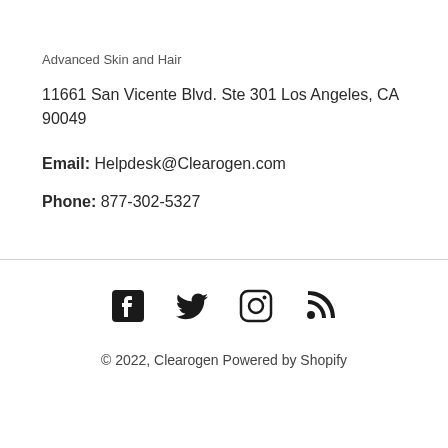Advanced Skin and Hair
11661 San Vicente Blvd. Ste 301 Los Angeles, CA 90049
Email: Helpdesk@Clearogen.com
Phone: 877-302-5327
[Figure (infographic): Row of four social media icons: Facebook, Twitter, Instagram, RSS feed]
© 2022, Clearogen Powered by Shopify